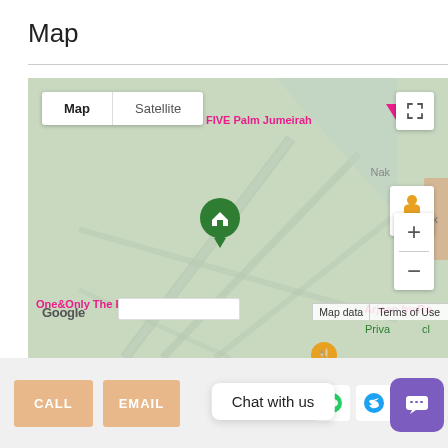Map
[Figure (map): Google Map screenshot showing Palm Jumeirah area in Dubai. Map view with Map/Satellite toggle buttons at top left, fullscreen button at top right. Shows location markers: green home marker in center, pink heart marker for FIVE Palm Jumeirah at top right, orange food marker for Bar Du Port Dubai, blue camera marker for Sea Tours. Labels visible: FIVE Palm Jumeirah, One&Only The Palm, Bar Du Port Dubai, Arjaan by Ro, Sea urs, Nak, Priva. Google logo at bottom left, Map data and Terms of Use at bottom right. Zoom controls (+ and -) on right side. Street View person icon button. Tan colored panel on far right edge.]
Chat with us
CALL
EMAIL